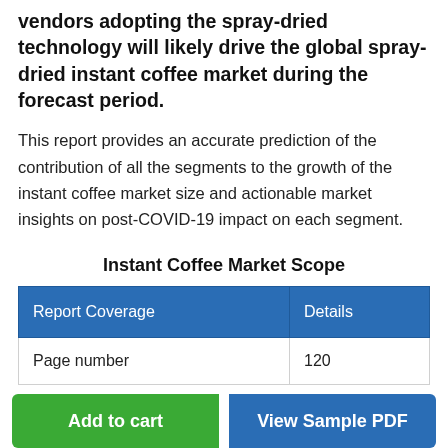counterparts and the rising number of new vendors adopting the spray-dried technology will likely drive the global spray-dried instant coffee market during the forecast period.
This report provides an accurate prediction of the contribution of all the segments to the growth of the instant coffee market size and actionable market insights on post-COVID-19 impact on each segment.
Instant Coffee Market Scope
| Report Coverage | Details |
| --- | --- |
| Page number | 120 |